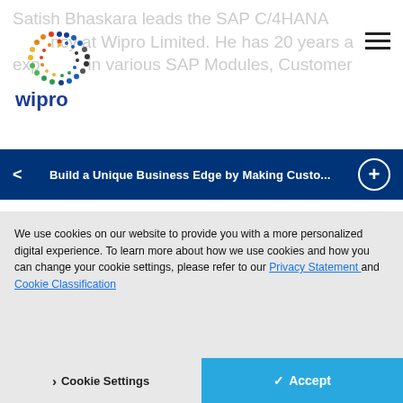[Figure (logo): Wipro logo with colorful dot pattern and 'wipro' text]
Satish Bhaskara leads the SAP C/4HANA ... ncy at Wipro Limited. He has 20 years a... experience in various SAP Modules, Customer
Build a Unique Business Edge by Making Custo...
expert in the areas of SAP CRM / SAP C/4HANA and has implemented multiple transformation programs.
We use cookies on our website to provide you with a more personalized digital experience. To learn more about how we use cookies and how you can change your cookie settings, please refer to our Privacy Statement and Cookie Classification
Cookie Settings   Accept